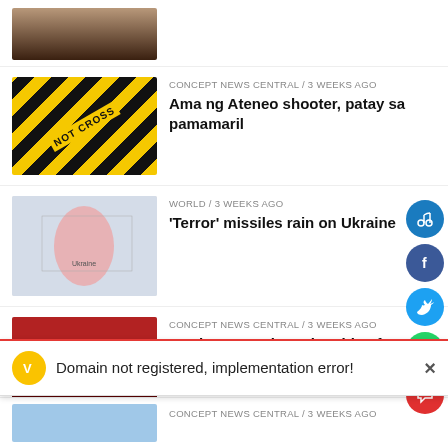[Figure (photo): Partial top photo showing hands]
[Figure (photo): Crime scene tape - yellow and black DO NOT CROSS tape]
CONCEPT NEWS CENTRAL / 3 weeks ago
Ama ng Ateneo shooter, patay sa pamamaril
[Figure (photo): Map of Ukraine showing conflict areas]
WORLD / 3 weeks ago
'Terror' missiles rain on Ukraine
[Figure (photo): Basketball players, Harden in action]
CONCEPT NEWS CENTRAL / 3 weeks ago
Harden eyes championship after inking new Sixers deal
[Figure (photo): Christine Bermas partial photo]
CONCEPT NEWS CENTRAL / 3 weeks ago
Christine Bermas, matindi ang nasabon
Domain not registered, implementation error!
[Figure (photo): Bottom partial news item photo]
CONCEPT NEWS CENTRAL / 3 weeks ago